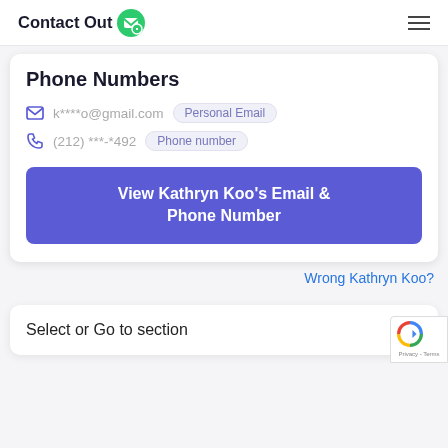ContactOut
Phone Numbers
k****o@gmail.com  Personal Email
(212) ***-*492  Phone number
View Kathryn Koo's Email & Phone Number
Wrong Kathryn Koo?
Select or Go to section